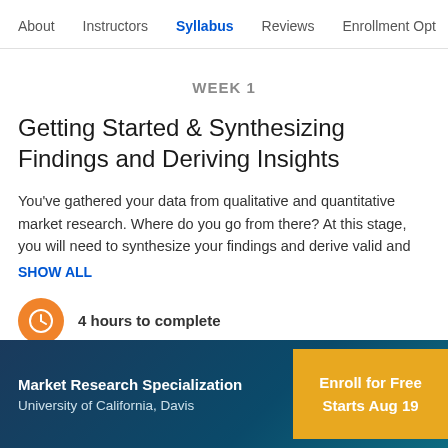About   Instructors   Syllabus   Reviews   Enrollment Opt
WEEK 1
Getting Started & Synthesizing Findings and Deriving Insights
You've gathered your data from qualitative and quantitative market research. Where do you go from there? At this stage, you will need to synthesize your findings and derive valid and
SHOW ALL
4 hours to complete
Market Research Specialization
University of California, Davis
Enroll for Free
Starts Aug 19